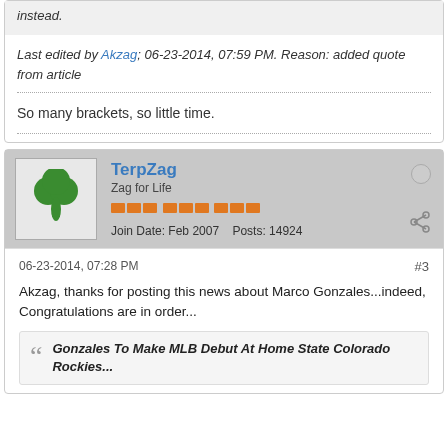instead.
Last edited by Akzag; 06-23-2014, 07:59 PM. Reason: added quote from article
So many brackets, so little time.
TerpZag
Zag for Life
Join Date: Feb 2007  Posts: 14924
06-23-2014, 07:28 PM
#3
Akzag, thanks for posting this news about Marco Gonzales...indeed, Congratulations are in order...
Gonzales To Make MLB Debut At Home State Colorado Rockies...